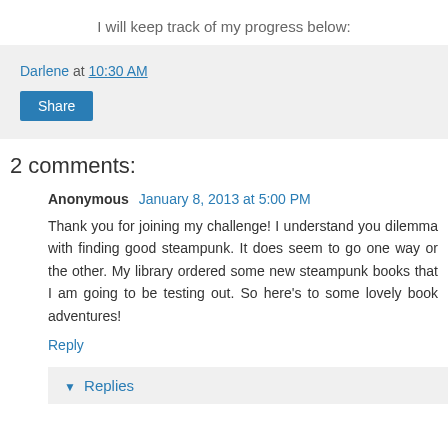I will keep track of my progress below:
Darlene at 10:30 AM
Share
2 comments:
Anonymous January 8, 2013 at 5:00 PM
Thank you for joining my challenge! I understand you dilemma with finding good steampunk. It does seem to go one way or the other. My library ordered some new steampunk books that I am going to be testing out. So here's to some lovely book adventures!
Reply
Replies